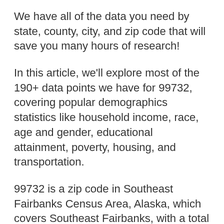We have all of the data you need by state, county, city, and zip code that will save you many hours of research!
In this article, we'll explore most of the 190+ data points we have for 99732, covering popular demographics statistics like household income, race, age and gender, educational attainment, poverty, housing, and transportation.
99732 is a zip code in Southeast Fairbanks Census Area, Alaska, which covers Southeast Fairbanks, with a total population of 21 people.